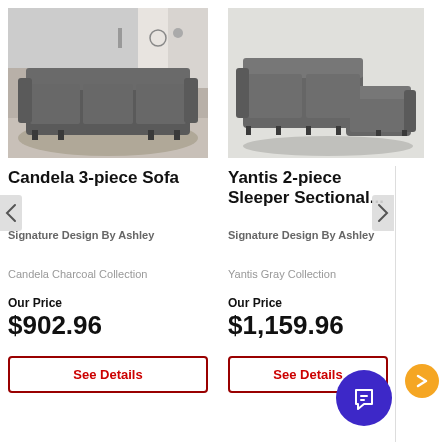[Figure (photo): Gray three-piece sofa in a living room setting]
Candela 3-piece Sofa
Signature Design By Ashley
Candela Charcoal Collection
Our Price
$902.96
See Details
[Figure (photo): Gray two-piece sleeper sectional sofa on white background]
Yantis 2-piece Sleeper Sectional...
Signature Design By Ashley
Yantis Gray Collection
Our Price
$1,159.96
See Details